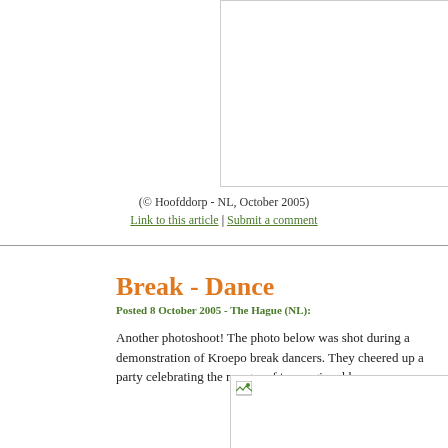[Figure (photo): Top image box (partially visible, cropped at top of page)]
(© Hoofddorp - NL, October 2005)
Link to this article | Submit a comment
Break - Dance
Posted 8 October 2005 - The Hague (NL):
Another photoshoot! The photo below was shot during a demonstration of Kroepo break dancers. They cheered up a party celebrating the merger of two regional hosp
[Figure (photo): Break dance photo (mostly outside page bounds)]